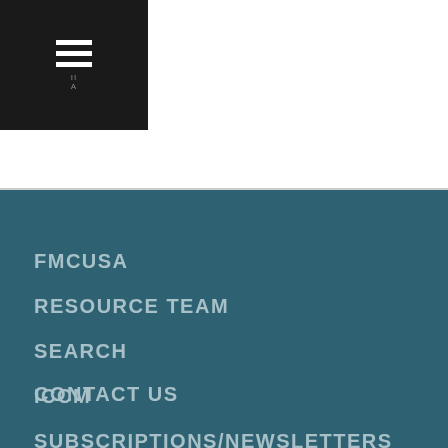[Figure (logo): Hamburger menu icon (three white horizontal bars) on black background with small logo text]
FMCUSA
RESOURCE TEAM
SEARCH
ICCM
SUBSCRIPTIONS/NEWSLETTERS
CONTACT US